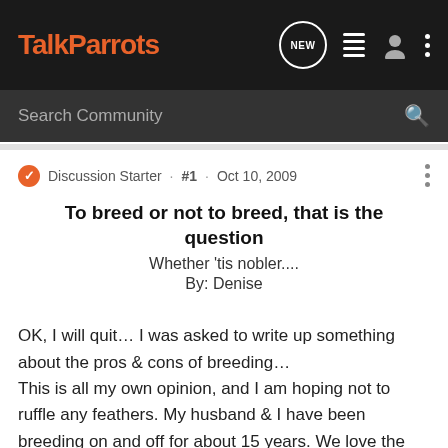TalkParrots
Search Community
Discussion Starter · #1 · Oct 10, 2009
To breed or not to breed, that is the question
Whether 'tis nobler....
By: Denise
OK, I will quit… I was asked to write up something about the pros & cons of breeding…
This is all my own opinion, and I am hoping not to ruffle any feathers. My husband & I have been breeding on and off for about 15 years. We love the challenges each new breeding